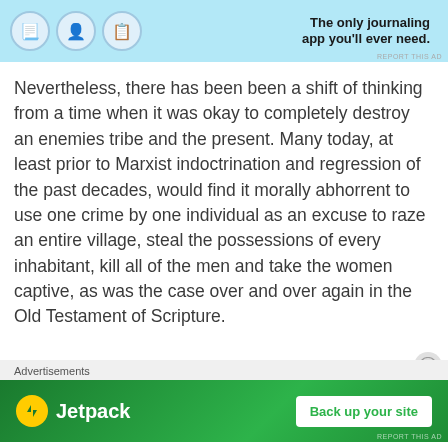[Figure (screenshot): Top advertisement banner with light blue background showing app icons and text 'The only journaling app you'll ever need.']
Nevertheless, there has been been a shift of thinking from a time when it was okay to completely destroy an enemies tribe and the present. Many today, at least prior to Marxist indoctrination and regression of the past decades, would find it morally abhorrent to use one crime by one individual as an excuse to raze an entire village, steal the possessions of every inhabitant, kill all of the men and take the women captive, as was the case over and over again in the Old Testament of Scripture.
Advertisements
[Figure (screenshot): Jetpack advertisement banner with green background showing Jetpack logo and 'Back up your site' button]